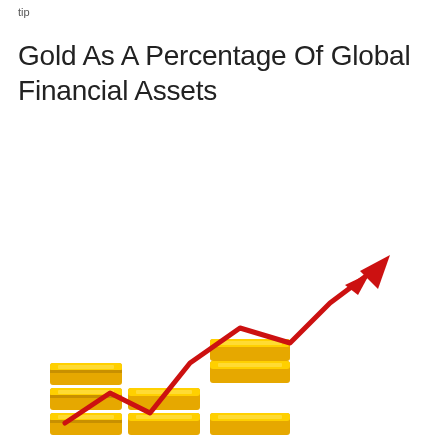tip
Gold As A Percentage Of Global Financial Assets
[Figure (illustration): 3D illustration of stacked gold bars arranged in ascending steps from left to right, with a red zigzag line chart overlaid trending upward with an arrow pointing to the upper right, representing gold price or gold as a percentage of global financial assets increasing over time.]